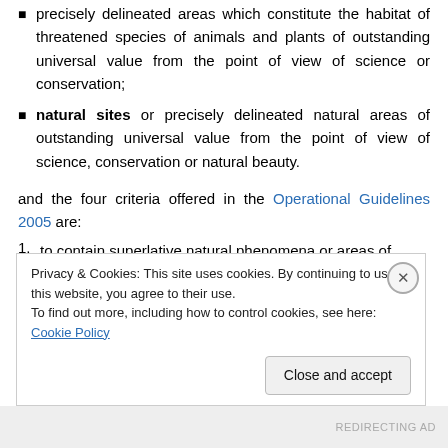precisely delineated areas which constitute the habitat of threatened species of animals and plants of outstanding universal value from the point of view of science or conservation;
natural sites or precisely delineated natural areas of outstanding universal value from the point of view of science, conservation or natural beauty.
and the four criteria offered in the Operational Guidelines 2005 are:
1. to contain superlative natural phenomena or areas of
Privacy & Cookies: This site uses cookies. By continuing to use this website, you agree to their use. To find out more, including how to control cookies, see here: Cookie Policy